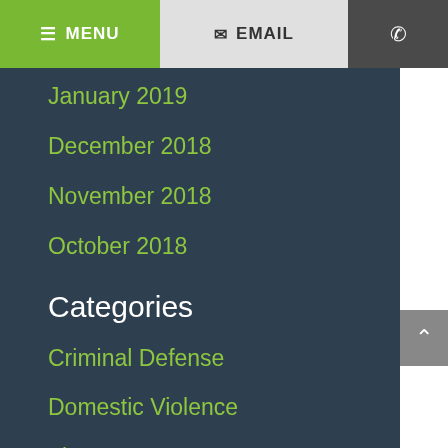MENU | EMAIL | phone
January 2019
December 2018
November 2018
October 2018
Categories
Criminal Defense
Domestic Violence
Firm News
Internet Sex Crimes